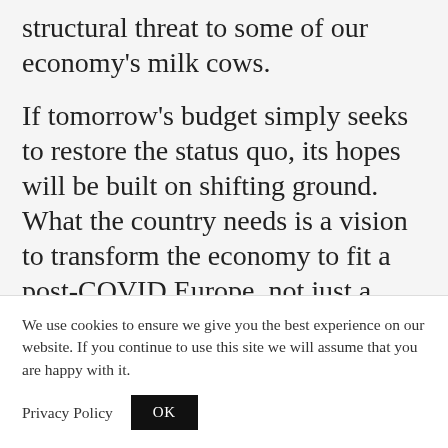structural threat to some of our economy's milk cows.
If tomorrow's budget simply seeks to restore the status quo, its hopes will be built on shifting ground. What the country needs is a vision to transform the economy to fit a post-COVID Europe, not just a post-COVID Malta.
Editor's note: In a move that has now
We use cookies to ensure we give you the best experience on our website. If you continue to use this site we will assume that you are happy with it.
Privacy Policy  OK